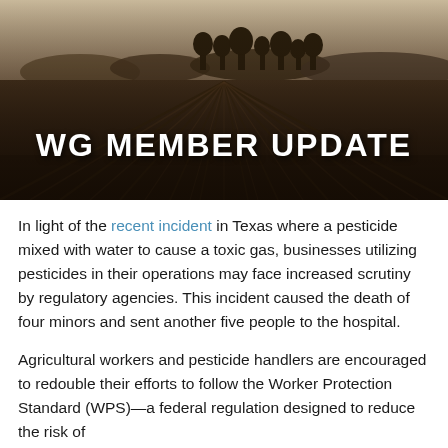[Figure (photo): Sepia-toned aerial photograph of plowed agricultural field rows converging to a vanishing point, with trees on the horizon, overlaid with bold white text 'WG MEMBER UPDATE']
WG MEMBER UPDATE
In light of the recent incident in Texas where a pesticide mixed with water to cause a toxic gas, businesses utilizing pesticides in their operations may face increased scrutiny by regulatory agencies. This incident caused the death of four minors and sent another five people to the hospital.
Agricultural workers and pesticide handlers are encouraged to redouble their efforts to follow the Worker Protection Standard (WPS)—a federal regulation designed to reduce the risk of